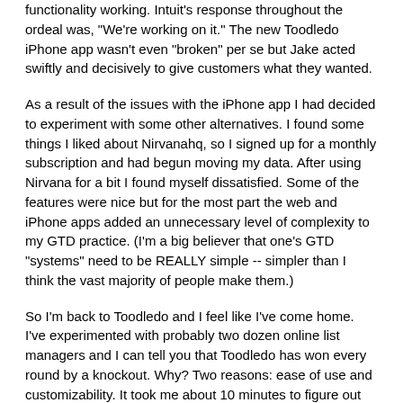functionality working. Intuit's response throughout the ordeal was, "We're working on it." The new Toodledo iPhone app wasn't even "broken" per se but Jake acted swiftly and decisively to give customers what they wanted.
As a result of the issues with the iPhone app I had decided to experiment with some other alternatives. I found some things I liked about Nirvanahq, so I signed up for a monthly subscription and had begun moving my data. After using Nirvana for a bit I found myself dissatisfied. Some of the features were nice but for the most part the web and iPhone apps added an unnecessary level of complexity to my GTD practice. (I'm a big believer that one's GTD "systems" need to be REALLY simple -- simpler than I think the vast majority of people make them.)
So I'm back to Toodledo and I feel like I've come home. I've experimented with probably two dozen online list managers and I can tell you that Toodledo has won every round by a knockout. Why? Two reasons: ease of use and customizability. It took me about 10 minutes to figure out how to use Toodledo, and the interface is laid out logically.
As for customizability, Toodledo is amazing. There isn't another cloud-based list manager that I've seen that has as many features as Toodledo offers. I don't want most of those features, but that's no problem. The ones I don't want can be easily suppressed. I can easily sort my data however I want to. I choose the simplest option -- alphabetically -- but there